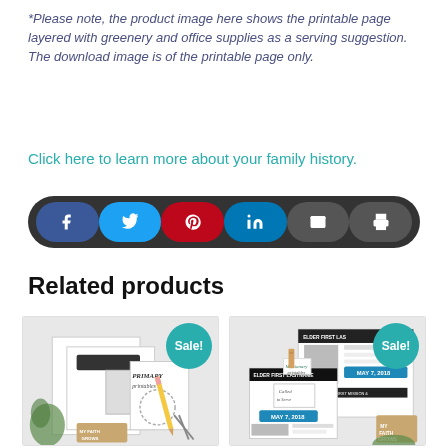*Please note, the product image here shows the printable page layered with greenery and office supplies as a serving suggestion. The download image is of the printable page only.
Click here to learn more about your family history.
[Figure (infographic): Social sharing bar with icons: Facebook (blue), Twitter (light blue), Pinterest (red), LinkedIn (blue), Email (dark grey), Print (dark grey)]
Related products
[Figure (photo): Product card 1: Primary printables family history worksheet with greenery and office supplies, Sale badge overlay]
[Figure (photo): Product card 2: Missionary printables elder mission card template, Sale badge overlay]